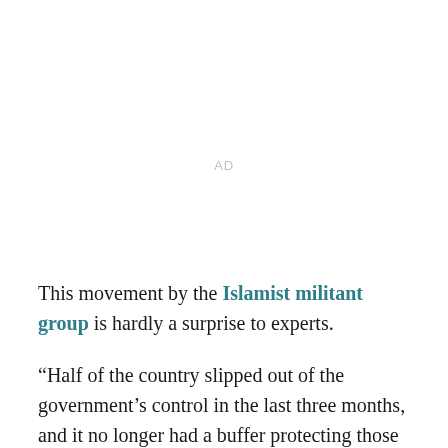AD
This movement by the Islamist militant group is hardly a surprise to experts.
“Half of the country slipped out of the government’s control in the last three months, and it no longer had a buffer protecting those provincial capitals,” analyst Andrew Watkins told Vox’s Jen Kirby.